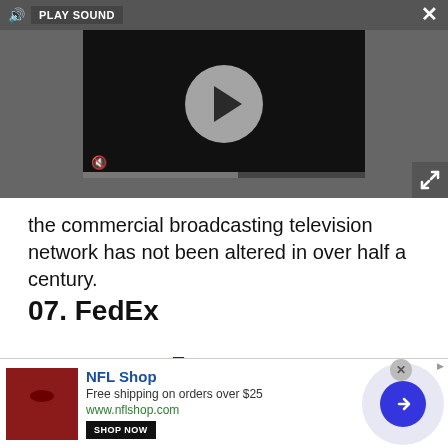[Figure (screenshot): Media player UI with play button circle, sound icon, PLAY SOUND label, mute icon, progress bar, close X button, and expand icon on dark gray background]
the commercial broadcasting television network has not been altered in over half a century.
07. FedEx
[Figure (logo): FedEx logo partially visible — large purple and orange letters spelling FedEx]
[Figure (screenshot): NFL Shop advertisement banner: red shirt image, NFL Shop text in blue, 'Free shipping on orders over $25', 'www.nflshop.com', SHOP NOW button, close circle, blue arrow circle on light purple cloud background]